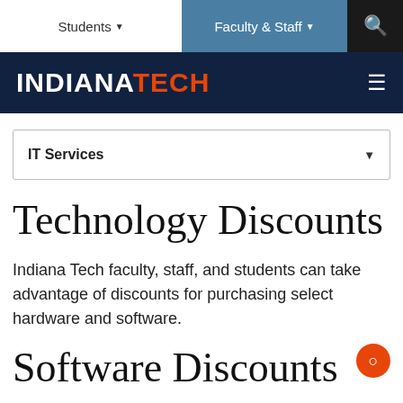Students ▾   Faculty & Staff ▾   🔍
INDIANA TECH
IT Services ▾
Technology Discounts
Indiana Tech faculty, staff, and students can take advantage of discounts for purchasing select hardware and software.
Software Discounts